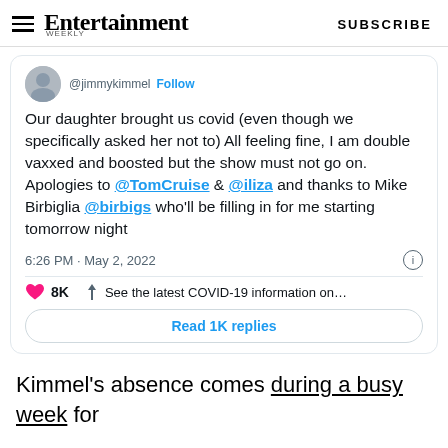Entertainment Weekly — SUBSCRIBE
[Figure (screenshot): Embedded tweet from @jimmykimmel showing a tweet about his daughter bringing covid, being double vaxxed and boosted, apologizing to @TomCruise and @iliza, and thanking Mike Birbiglia @birbigs who will fill in for him. Tweet time: 6:26 PM · May 2, 2022. 8K likes. Read 1K replies button.]
Kimmel's absence comes during a busy week for